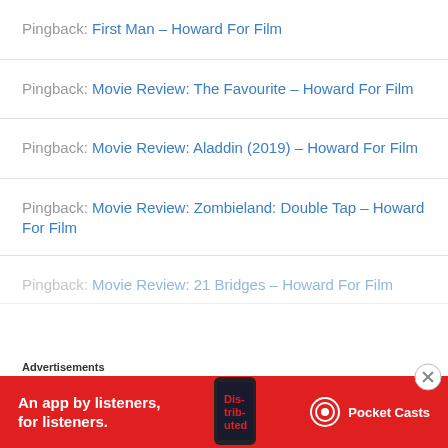Pingback: First Man – Howard For Film
Pingback: Movie Review: The Favourite – Howard For Film
Pingback: Movie Review: Aladdin (2019) – Howard For Film
Pingback: Movie Review: Zombieland: Double Tap – Howard For Film
Pingback: Movie Review: 21 Bridges – Howard For Film
Advertisements
[Figure (infographic): Pocket Casts advertisement banner on red background with text 'An app by listeners, for listeners.' and Pocket Casts logo, with phone image showing 'Distributed' text]